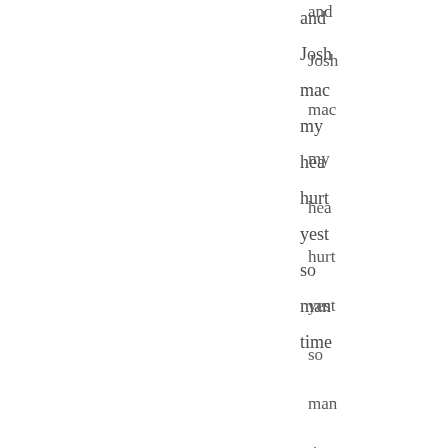and
Josh
mac
my
hear
hurt
yest
so
man
time
10. I
love
you.
I love you
right back
Tanya
Webster.
And if
you're
reading this
Josh
Downs...we'v